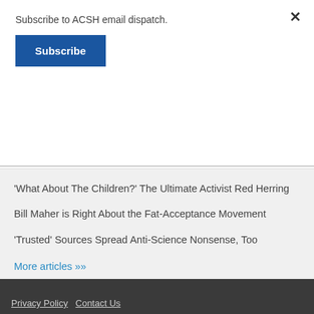Subscribe to ACSH email dispatch.
Subscribe
'What About The Children?' The Ultimate Activist Red Herring
Bill Maher is Right About the Fat-Acceptance Movement
'Trusted' Sources Spread Anti-Science Nonsense, Too
More articles »
Privacy Policy   Contact Us